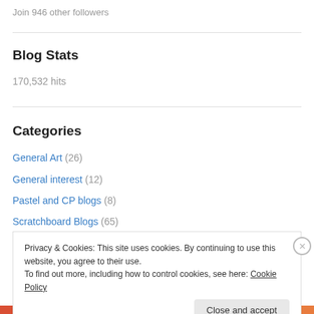Join 946 other followers
Blog Stats
170,532 hits
Categories
General Art (26)
General interest (12)
Pastel and CP blogs (8)
Scratchboard Blogs (65)
Privacy & Cookies: This site uses cookies. By continuing to use this website, you agree to their use.
To find out more, including how to control cookies, see here: Cookie Policy
Close and accept